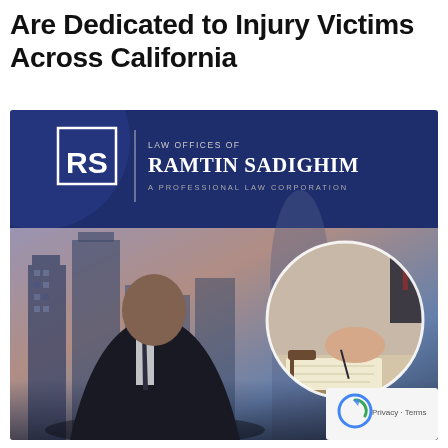Are Dedicated to Injury Victims Across California
[Figure (photo): Promotional image for Law Offices of Ramtin Sadighim, A Professional Law Corporation. Features the RS logo on a dark navy banner at top, with attorney Ramtin Sadighim standing in a dark suit and tie against a city skyline background, and a circular inset photo showing hands signing legal documents at a desk. A privacy/reCAPTCHA badge appears in the bottom right corner.]